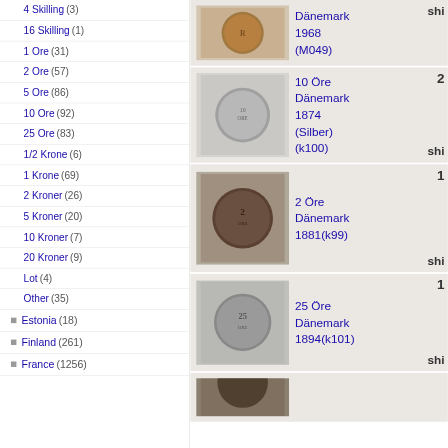4 Skilling (3)
16 Skilling (1)
1 Ore (31)
2 Ore (57)
5 Ore (86)
10 Ore (92)
25 Ore (83)
1/2 Krone (6)
1 Krone (69)
2 Kroner (26)
5 Kroner (20)
10 Kroner (7)
20 Kroner (9)
Lot (4)
Other (35)
Estonia (18)
Finland (261)
France (1256)
[Figure (photo): Coin photo - 1 Ore Danemark 1968 (M049), copper colored coin]
Dänemark 1968 (M049)
[Figure (photo): Coin photo - 10 Öre Dänemark 1874 (Silber) (k100), silver colored coin]
10 Öre Dänemark 1874 (Silber) (k100)
[Figure (photo): Coin photo - 2 Öre Dänemark 1881(k99), dark bronze coin]
2 Öre Dänemark 1881(k99)
[Figure (photo): Coin photo - 25 Öre Dänemark 1894(k101), silver/nickel coin]
25 Öre Dänemark 1894(k101)
[Figure (photo): Partially visible coin at bottom]